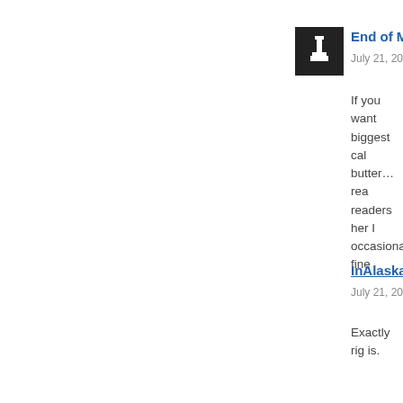[Figure (illustration): Black square avatar icon with a white chess piece (pawn or similar) silhouette]
End of M
July 21, 2014
If you want biggest calo butter…rea readers her I occasiona fine
InAlaska s
July 21, 2014
Exactly rig is.